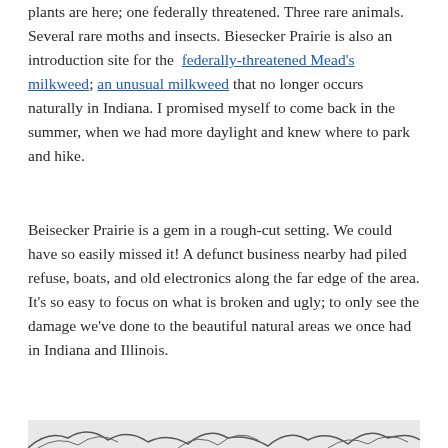plants are here; one federally threatened. Three rare animals. Several rare moths and insects. Biesecker Prairie is also an introduction site for the federally-threatened Mead's milkweed; an unusual milkweed that no longer occurs naturally in Indiana. I promised myself to come back in the summer, when we had more daylight and knew where to park and hike.
Beisecker Prairie is a gem in a rough-cut setting. We could have so easily missed it! A defunct business nearby had piled refuse, boats, and old electronics along the far edge of the area. It's so easy to focus on what is broken and ugly; to only see the damage we've done to the beautiful natural areas we once had in Indiana and Illinois.
[Figure (illustration): Partial illustration showing what appears to be a nature/plant scene, cropped at the bottom of the page.]